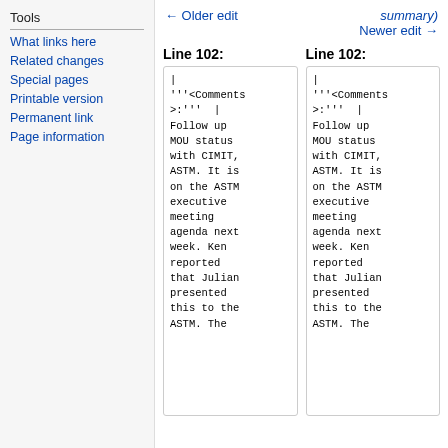Tools
What links here
Related changes
Special pages
Printable version
Permanent link
Page information
← Older edit
summary)
Newer edit →
Line 102:
Line 102:
|
'''<Comments>:'''  |
Follow up MOU status with CIMIT, ASTM. It is on the ASTM executive meeting agenda next week. Ken reported that Julian presented this to the ASTM. The
|
'''<Comments>:'''  |
Follow up MOU status with CIMIT, ASTM. It is on the ASTM executive meeting agenda next week. Ken reported that Julian presented this to the ASTM. The